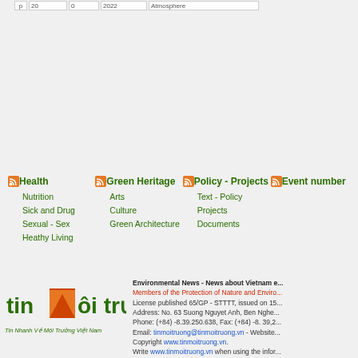|  |  |  | Atmosphere |
| --- | --- | --- | --- |
|  |
Health — Nutrition, Sick and Drug, Sexual - Sex, Heathy Living
Green Heritage — Arts, Culture, Green Architecture
Policy - Projects — Text - Policy, Projects, Documents
Event number
[Figure (logo): tinMôi trường logo with tagline Tin Nhanh Về Môi Trường Việt Nam]
Environmental News - News about Vietnam e... Members of the Protection of Nature and Enviro... License published 65/GP - STTTT, issued on 15... Address: No. 63 Suong Nguyet Anh, Ben Nghe... Phone: (+84) -8.39.250.638, Fax: (+84) -8. 39,2... Email: tinmoitruong@tinmoitruong.vn - Website... Copyright www.tinmoitruong.vn. Write www.tinmoitruong.vn when using the infor...